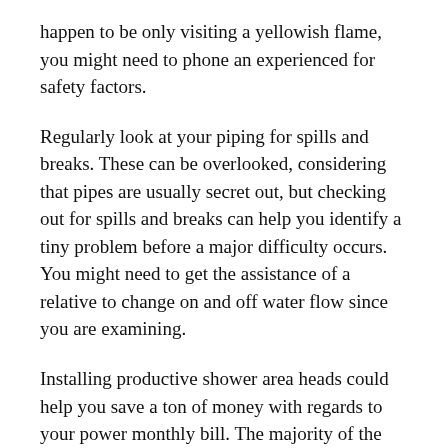happen to be only visiting a yellowish flame, you might need to phone an experienced for safety factors.
Regularly look at your piping for spills and breaks. These can be overlooked, considering that pipes are usually secret out, but checking out for spills and breaks can help you identify a tiny problem before a major difficulty occurs. You might need to get the assistance of a relative to change on and off water flow since you are examining.
Installing productive shower area heads could help you save a ton of money with regards to your power monthly bill. The majority of the hot water employed in the house can be used although showering. Spend money on an energy-successful shower area head and you could help save one hundred money every year on your own drinking